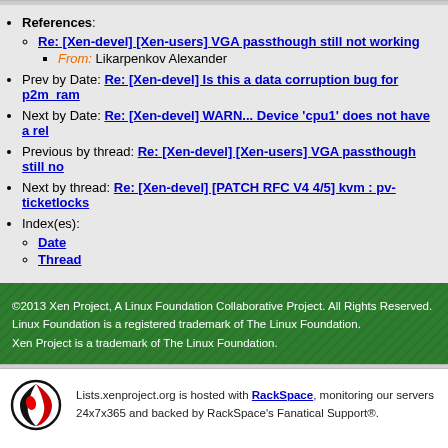References:
Re: [Xen-devel] [Xen-users] VGA passthough still not working
From: Likarpenkov Alexander
Prev by Date: Re: [Xen-devel] Is this a data corruption bug for p2m_ram...
Next by Date: Re: [Xen-devel] WARN... Device 'cpu1' does not have a rel...
Previous by thread: Re: [Xen-devel] [Xen-users] VGA passthough still no...
Next by thread: Re: [Xen-devel] [PATCH RFC V4 4/5] kvm : pv-ticketlocks...
Index(es):
Date
Thread
©2013 Xen Project, A Linux Foundation Collaborative Project. All Rights Reserved. Linux Foundation is a registered trademark of The Linux Foundation. Xen Project is a trademark of The Linux Foundation.
Lists.xenproject.org is hosted with RackSpace, monitoring our servers 24x7x365 and backed by RackSpace's Fanatical Support®.